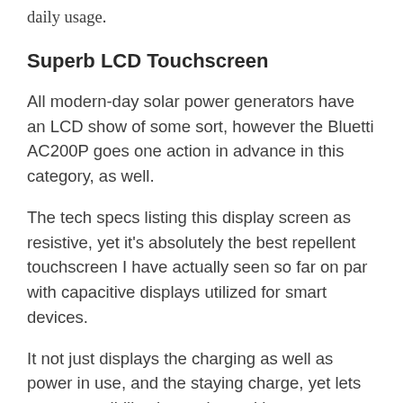daily usage.
Superb LCD Touchscreen
All modern-day solar power generators have an LCD show of some sort, however the Bluetti AC200P goes one action in advance in this category, as well.
The tech specs listing this display screen as resistive, yet it’s absolutely the best repellent touchscreen I have actually seen so far on par with capacitive displays utilized for smart devices.
It not just displays the charging as well as power in use, and the staying charge, yet lets you accessibility the settings with a user friendly